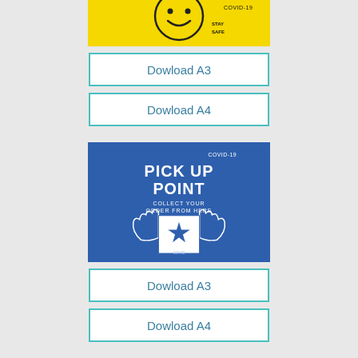[Figure (illustration): Partial yellow COVID-19 poster visible at top of page]
Dowload A3
Dowload A4
[Figure (illustration): Blue COVID-19 Pick Up Point poster: PICK UP POINT - COLLECT YOUR ORDER FROM HERE, with hands holding a star icon]
Dowload A3
Dowload A4
[Figure (illustration): Partial light blue COVID-19 How To Wash Your Hands poster visible at bottom of page]